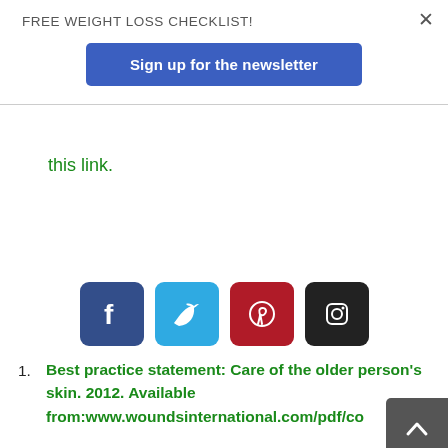FREE WEIGHT LOSS CHECKLIST!
Sign up for the newsletter
this link.
[Figure (infographic): Social media icons row: Facebook (dark blue), Twitter (light blue), Pinterest (dark red), Instagram (black)]
1. Best practice statement: Care of the older person's skin. 2012. Available from:www.woundsinternational.com/pdf/co